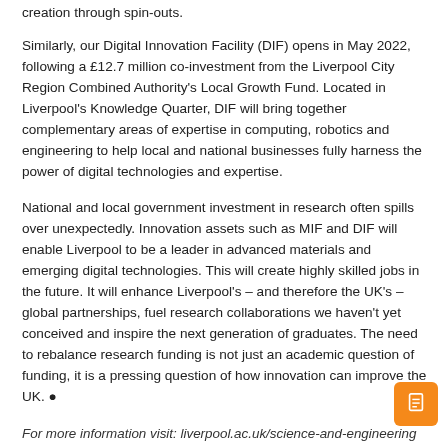creation through spin-outs.
Similarly, our Digital Innovation Facility (DIF) opens in May 2022, following a £12.7 million co-investment from the Liverpool City Region Combined Authority's Local Growth Fund. Located in Liverpool's Knowledge Quarter, DIF will bring together complementary areas of expertise in computing, robotics and engineering to help local and national businesses fully harness the power of digital technologies and expertise.
National and local government investment in research often spills over unexpectedly. Innovation assets such as MIF and DIF will enable Liverpool to be a leader in advanced materials and emerging digital technologies. This will create highly skilled jobs in the future. It will enhance Liverpool's – and therefore the UK's – global partnerships, fuel research collaborations we haven't yet conceived and inspire the next generation of graduates. The need to rebalance research funding is not just an academic question of funding, it is a pressing question of how innovation can improve the UK. •
For more information visit: liverpool.ac.uk/science-and-engineering